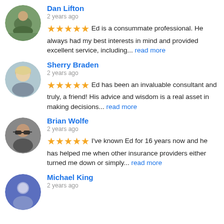Dan Lifton
2 years ago
★★★★★ Ed is a consummate professional. He always had my best interests in mind and provided excellent service, including... read more
Sherry Braden
2 years ago
★★★★★ Ed has been an invaluable consultant and truly, a friend! His advice and wisdom is a real asset in making decisions... read more
Brian Wolfe
2 years ago
★★★★★ I've known Ed for 16 years now and he has helped me when other insurance providers either turned me down or simply... read more
Michael King
2 years ago